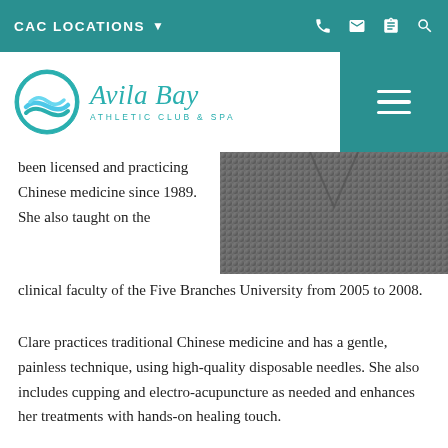CAC LOCATIONS
[Figure (logo): Avila Bay Athletic Club & Spa logo with teal circle containing wave lines and italic script text]
[Figure (photo): Close-up photo of a person wearing a dark grey/brown knit cardigan or sweater]
been licensed and practicing Chinese medicine since 1989. She also taught on the clinical faculty of the Five Branches University from 2005 to 2008.
Clare practices traditional Chinese medicine and has a gentle, painless technique, using high-quality disposable needles. She also includes cupping and electro-acupuncture as needed and enhances her treatments with hands-on healing touch.
From sports injuries to facial rejuvenation, or simply for an energy boost, Clare draws upon her years of experience to